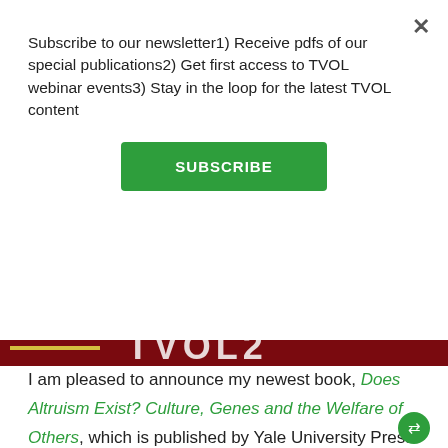Subscribe to our newsletter1) Receive pdfs of our special publications2) Get first access to TVOL webinar events3) Stay in the loop for the latest TVOL content
SUBSCRIBE
[Figure (other): Dark red banner with yellow horizontal line and partial large text letters visible]
I am pleased to announce my newest book, Does Altruism Exist? Culture, Genes and the Welfare of Others, which is published by Yale University Press in collaboration with the Templeton Press as the first in a series of short books on